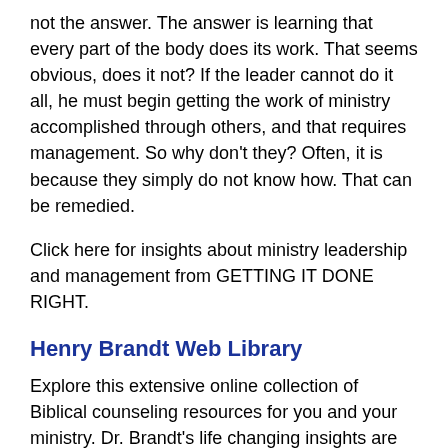not the answer. The answer is learning that every part of the body does its work. That seems obvious, does it not? If the leader cannot do it all, he must begin getting the work of ministry accomplished through others, and that requires management. So why don't they? Often, it is because they simply do not know how. That can be remedied.
Click here for insights about ministry leadership and management from GETTING IT DONE RIGHT.
Henry Brandt Web Library
Explore this extensive online collection of Biblical counseling resources for you and your ministry. Dr. Brandt's life changing insights are readily available to you in various formats:
Biblical answers to 70 key life questions